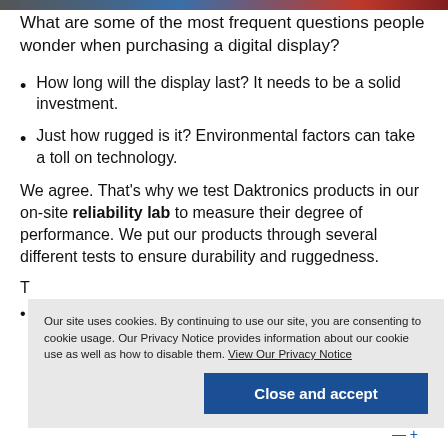[Figure (photo): Colorful header image strip at top of page showing partial photos]
What are some of the most frequent questions people wonder when purchasing a digital display?
How long will the display last? It needs to be a solid investment.
Just how rugged is it? Environmental factors can take a toll on technology.
We agree. That’s why we test Daktronics products in our on-site reliability lab to measure their degree of performance. We put our products through several different tests to ensure durability and ruggedness.
T
•
Our site uses cookies. By continuing to use our site, you are consenting to cookie usage. Our Privacy Notice provides information about our cookie use as well as how to disable them. View Our Privacy Notice
Close and accept